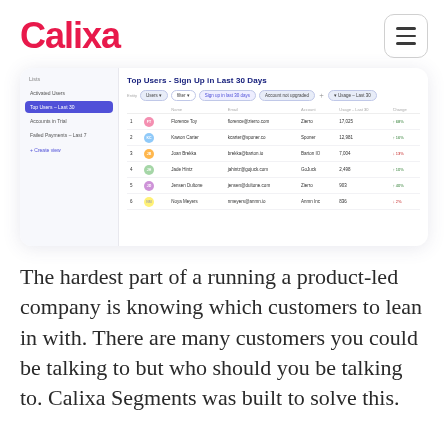[Figure (logo): Calixa logo in red/pink bold font]
[Figure (screenshot): Screenshot of Calixa app showing 'Top Users - Sign Up in Last 30 Days' list with sidebar navigation and data table showing users: Florence Toy (Zierro, 17,025, +68%), Kawon Carter (Sponer, 12,981, +16%), Joan Brekka (Barton IO, 7,004, -13%), Jade Hintz (GoJuck, 2,498, +10%), Jensen Dultone (Zierro, 903, +40%), Noya Meyers (Anmn Inc, 836, -2%)]
The hardest part of a running a product-led company is knowing which customers to lean in with. There are many customers you could be talking to but who should you be talking to. Calixa Segments was built to solve this.